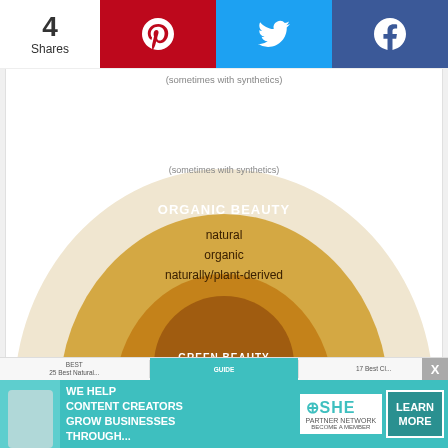4 Shares
[Figure (infographic): Concentric circles diagram showing beauty categories: outermost light beige circle (natural beauty with sometimes synthetics), then golden yellow circle (ORGANIC BEAUTY: natural, organic, naturally/plant-derived), then brown circle (GREEN BEAUTY) at center. Attribution: @ORGANICBEAUTYLOVER]
@ORGANICBEAUTYLOVER
Discount Code OBL saves at 50+ brands:
Abbott Perfumes
Amala Beauty
[Figure (infographic): Advertisement banner: SHE Media Partner Network - We help content creators grow businesses through... Learn More button]